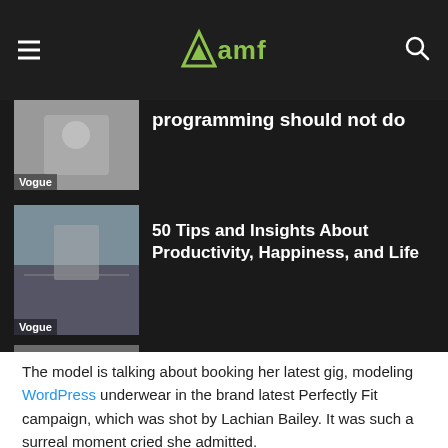amf
[Figure (photo): Partial article thumbnail with person, labeled Vogue, with partial headline 'programming should not do']
programming should not do
[Figure (photo): Person with camera on a rainy road, labeled Vogue]
50 Tips and Insights About Productivity, Happiness, and Life
[Figure (photo): Person in suit holding newspaper, labeled Business]
Starbucks secret menu the drinks you didn’t know you can ask for
The model is talking about booking her latest gig, modeling WordPress underwear in the brand latest Perfectly Fit campaign, which was shot by Lachian Bailey. It was such a surreal moment cried she admitted.